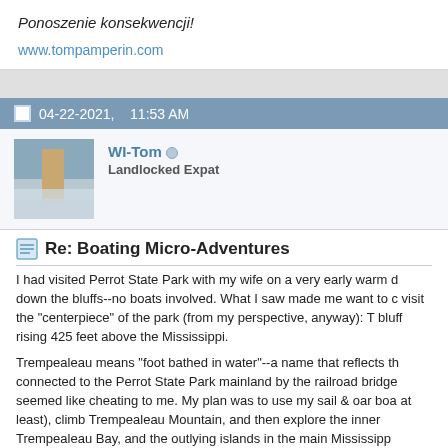Ponoszenie konsekwencji!
www.tompamperin.com
04-22-2021,   11:53 AM
WI-Tom
Landlocked Expat
Re: Boating Micro-Adventures
I had visited Perrot State Park with my wife on a very early warm d down the bluffs--no boats involved. What I saw made me want to c visit the "centerpiece" of the park (from my perspective, anyway): T bluff rising 425 feet above the Mississippi.

Trempealeau means "foot bathed in water"--a name that reflects th connected to the Perrot State Park mainland by the railroad bridge seemed like cheating to me. My plan was to use my sail & oar boa at least), climb Trempealeau Mountain, and then explore the inner Trempealeau Bay, and the outlying islands in the main Mississipp

Somewhere in there, I expected I'd find a sheltered backwater to a